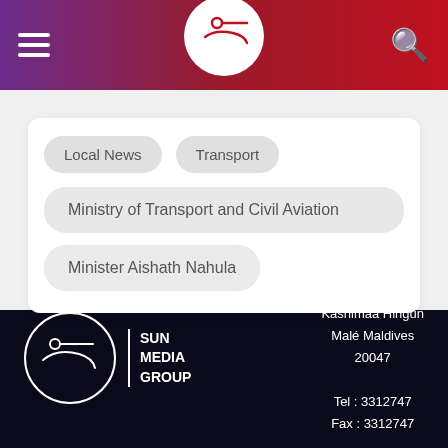Sun Media Group navigation header with hamburger menu and search icon
Local News
Transport
Ministry of Transport and Civil Aviation
Minister Aishath Nahula
G. Viyavathi Kashimaa Hingun Malé Maldives 20047 Tel : 3312747 Fax : 3312747